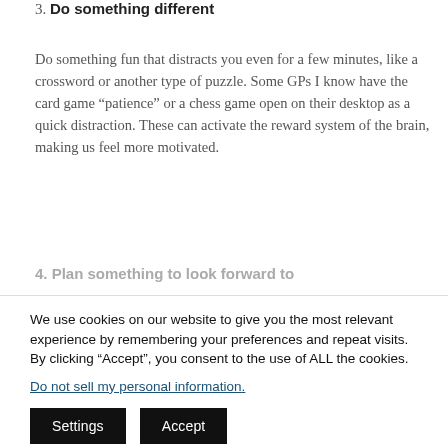3. Do something different
Do something fun that distracts you even for a few minutes, like a crossword or another type of puzzle. Some GPs I know have the card game “patience” or a chess game open on their desktop as a quick distraction. These can activate the reward system of the brain, making us feel more motivated.
4. Plan something to look forward to
We use cookies on our website to give you the most relevant experience by remembering your preferences and repeat visits. By clicking “Accept”, you consent to the use of ALL the cookies.
Do not sell my personal information.